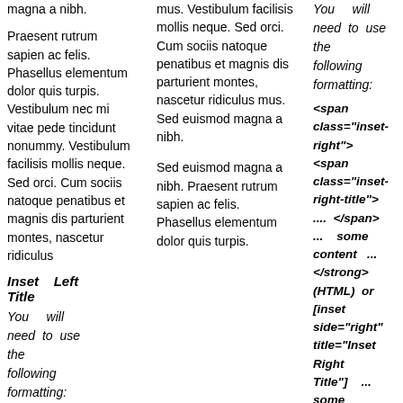magna a nibh.
Praesent rutrum sapien ac felis. Phasellus elementum dolor quis turpis. Vestibulum nec mi vitae pede tincidunt nonummy. Vestibulum facilisis mollis neque. Sed orci. Cum sociis natoque penatibus et magnis dis parturient montes, nascetur ridiculus
Inset Left Title
You will need to use the following formatting:
<span class="inset-left"> <span class="inset-left-title">
mus. Vestibulum facilisis mollis neque. Sed orci. Cum sociis natoque penatibus et magnis dis parturient montes, nascetur ridiculus mus. Sed euismod magna a nibh.
Sed euismod magna a nibh. Praesent rutrum sapien ac felis. Phasellus elementum dolor quis turpis.
You will need to use the following formatting:
<span class="inset-right"> <span class="inset-right-title"> .... </span> ... some content ... </strong> (HTML) or [inset side="right" title="Inset Right Title"] ... some content